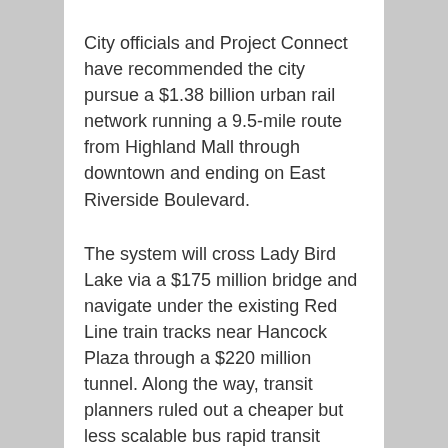City officials and Project Connect have recommended the city pursue a $1.38 billion urban rail network running a 9.5-mile route from Highland Mall through downtown and ending on East Riverside Boulevard.
The system will cross Lady Bird Lake via a $175 million bridge and navigate under the existing Red Line train tracks near Hancock Plaza through a $220 million tunnel. Along the way, transit planners ruled out a cheaper but less scalable bus rapid transit mode option, a tunnel under Lady Bird Lake and a cheaper but less connective tunnel north of downtown.